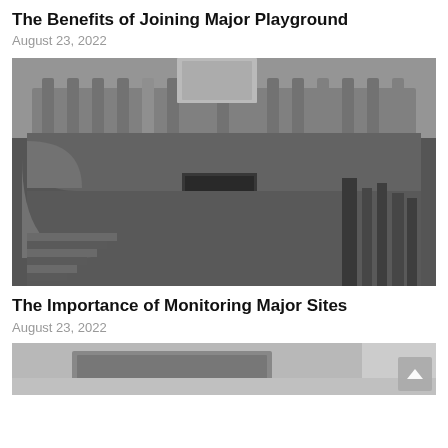The Benefits of Joining Major Playground
August 23, 2022
[Figure (photo): Black and white photo of a burnt-out, fire-damaged multi-story building with decorative stone balustrades and railings, charred and destroyed interior visible through open doorway]
The Importance of Monitoring Major Sites
August 23, 2022
[Figure (photo): Partial view of a second article image showing what appears to be a computer monitor or screen, partially visible at bottom of page]